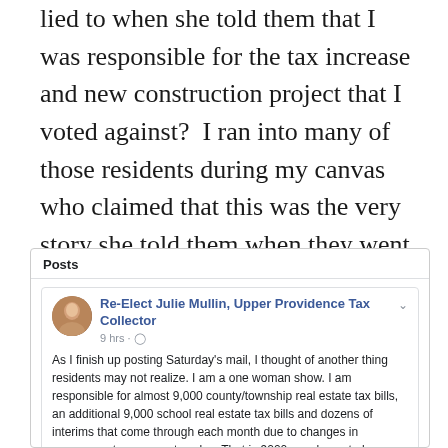lied to when she told them that I was responsible for the tax increase and new construction project that I voted against?  I ran into many of those residents during my canvas who claimed that this was the very story she told them when they went to pay their taxes, and those were just the ones who were willing to talk about it.
[Figure (screenshot): Facebook post screenshot showing 'Posts' section with a post from 'Re-Elect Julie Mullin, Upper Providence Tax Collector' posted 9 hours ago, describing her work managing 9,000 county/township real estate tax bills and school tax bills.]